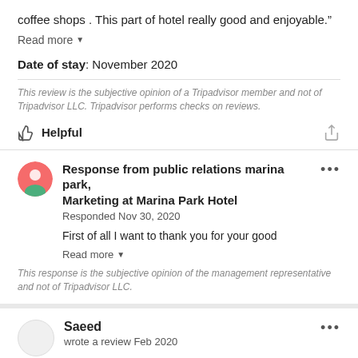coffee shops . This part of hotel really good and enjoyable.”
Read more ▾
Date of stay: November 2020
This review is the subjective opinion of a Tripadvisor member and not of Tripadvisor LLC. Tripadvisor performs checks on reviews.
Helpful
Response from public relations marina park, Marketing at Marina Park Hotel
Responded Nov 30, 2020
First of all I want to thank you for your good
Read more ▾
This response is the subjective opinion of the management representative and not of Tripadvisor LLC.
Saeed
wrote a review Feb 2020